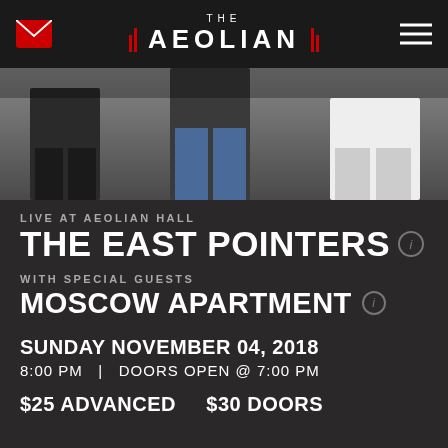THE AEOLIAN
[Figure (photo): Band photo showing three people from waist down, wearing dark clothing and jeans against a dark background]
LIVE AT AEOLIAN HALL
THE EAST POINTERS
WITH SPECIAL GUESTS
MOSCOW APARTMENT
SUNDAY NOVEMBER 04, 2018
8:00 PM  |  DOORS OPEN @ 7:00 PM
$25 ADVANCED    $30 DOORS